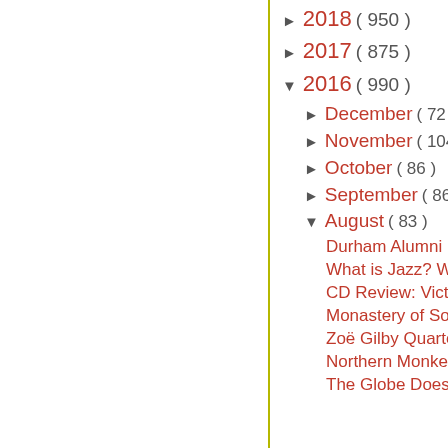► 2018 ( 950 )
► 2017 ( 875 )
▼ 2016 ( 990 )
► December ( 72 )
► November ( 104 )
► October ( 86 )
► September ( 86 )
▼ August ( 83 )
Durham Alumni Big
What is Jazz? With A
CD Review: Victoria
Monastery of Sound
Zoë Gilby Quartet @
Northern Monkey Br
The Globe Does The